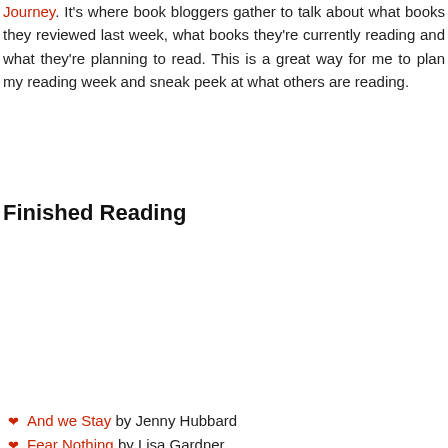Journey. It's where book bloggers gather to talk about what books they reviewed last week, what books they're currently reading and what they're planning to read. This is a great way for me to plan my reading week and sneak peek at what others are reading.
Finished Reading
[Figure (photo): Two book covers side by side: 'Fear Nothing' by Lisa Gardner on the left (dark thriller cover with a door and red title text), and 'The Nine Lives of Chloe King' by Liz Braswell on the right (cover with a green cat eye).]
And we Stay by Jenny Hubbard
Fear Nothing by Lisa Gardner
The Nine Lives of Chloe King by Liz Braswell